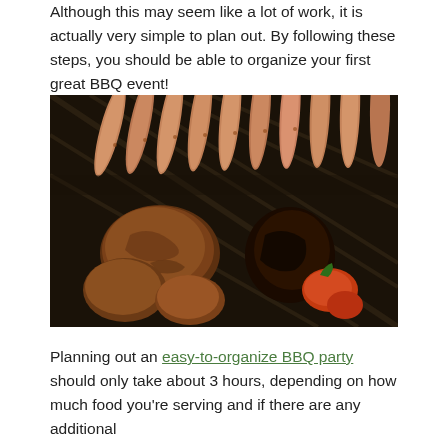Although this may seem like a lot of work, it is actually very simple to plan out. By following these steps, you should be able to organize your first great BBQ event!
[Figure (photo): Close-up photograph of various meats and vegetables cooking on a BBQ grill, including sausages, grilled meat patties, and charred peppers and vegetables.]
Planning out an easy-to-organize BBQ party should only take about 3 hours, depending on how much food you're serving and if there are any additional